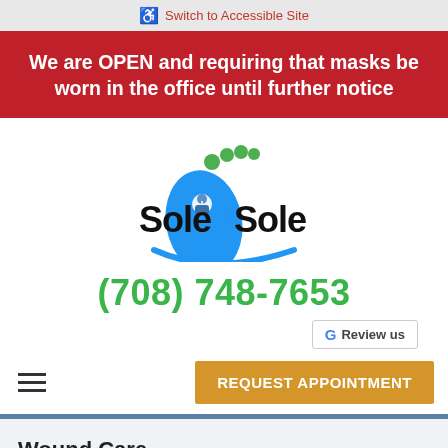Switch to Accessible Site
We are OPEN and requiring that masks be worn in the office until further notice
[Figure (logo): Sole 2 Sole podiatry logo with a blue foot, green toes, and a doctor icon]
(708) 748-7653
G Review us
REQUEST APPOINTMENT
Wound Care